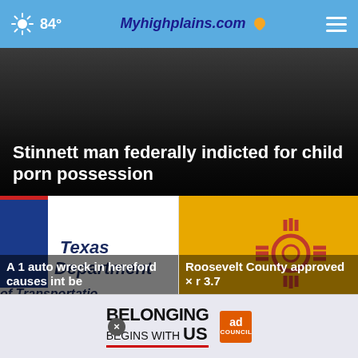84° Myhighplains.com
[Figure (photo): Dark background hero image with news headline overlay]
Stinnett man federally indicted for child porn possession
[Figure (photo): Texas Department of Transportation logo/sign]
A 1 auto wreck in hereford causes int be
[Figure (photo): New Mexico state flag - yellow background with red Zia symbol]
Roosevelt County approved × r 3.7
[Figure (other): Ad banner: BELONGING BEGINS WITH US - Ad Council]